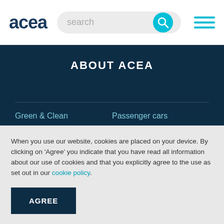acea
ABOUT ACEA
Green & Clean
Passenger cars
Smart & Efficient
Trucks
Safe & Reliable
Vans
When you use our website, cookies are placed on your device. By clicking on ‘Agree’ you indicate that you have read all information about our use of cookies and that you explicitly agree to the use as set out in our cookie policy.
AGREE